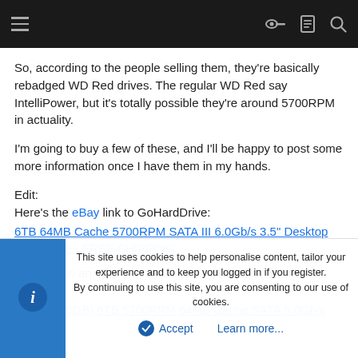[Navigation bar with hamburger menu and icons for key, clipboard, search]
So, according to the people selling them, they're basically rebadged WD Red drives. The regular WD Red say IntelliPower, but it's totally possible they're around 5700RPM in actuality.
I'm going to buy a few of these, and I'll be happy to post some more information once I have them in my hands.
Edit:
Here's the eBay link to GoHardDrive:
6TB 64MB Cache 5700RPM SATA III 6.0Gb/s 3.5" Desktop Hard Drive - FREE SHIPPING
And I put in an offer on these - same drive, just different seller.
New (6000GB) 6TB 5700RPM 64MB Cache SATA 6.0Gb/s 3.5"
This site uses cookies to help personalise content, tailor your experience and to keep you logged in if you register.
By continuing to use this site, you are consenting to our use of cookies.
Accept   Learn more...